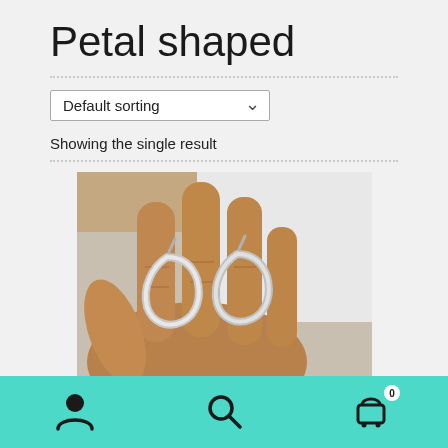Petal shaped
Showing the single result
[Figure (photo): A hand holding two silver petal-shaped hoop earrings against a white background.]